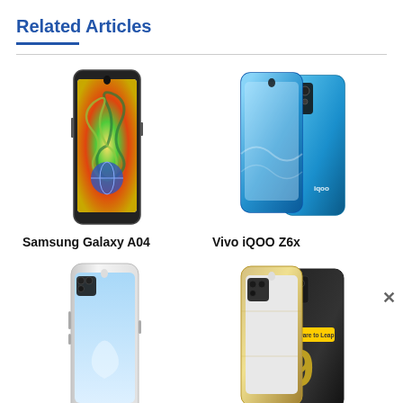Related Articles
[Figure (photo): Samsung Galaxy A04 smartphone front view showing colorful swirl wallpaper]
Samsung Galaxy A04
[Figure (photo): Vivo iQOO Z6x smartphone front and back view in blue color]
Vivo iQOO Z6x
[Figure (photo): White smartphone front view with teardrop notch]
[Figure (photo): Gold/champagne colored smartphone front and back view with Dare to Leap branding]